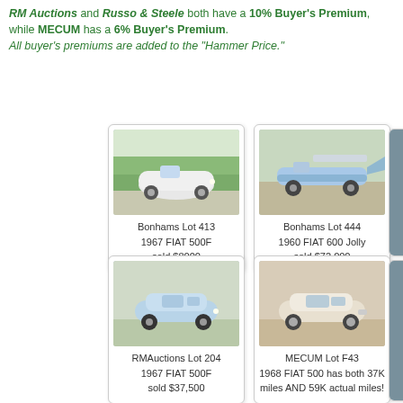RM Auctions and Russo & Steele both have a 10% Buyer's Premium, while MECUM has a 6% Buyer's Premium. All buyer's premiums are added to the "Hammer Price."
[Figure (photo): Bonhams Lot 413 - 1967 FIAT 500F, white, sold $8000]
[Figure (photo): Bonhams Lot 444 - 1960 FIAT 600 Jolly, light blue open car, sold $72,000]
[Figure (photo): RMAuctions Lot 204 - 1967 FIAT 500F, light blue, sold $37,500]
[Figure (photo): MECUM Lot F43 - 1968 FIAT 500, cream/white, has both 37K miles AND 59K actual miles!]